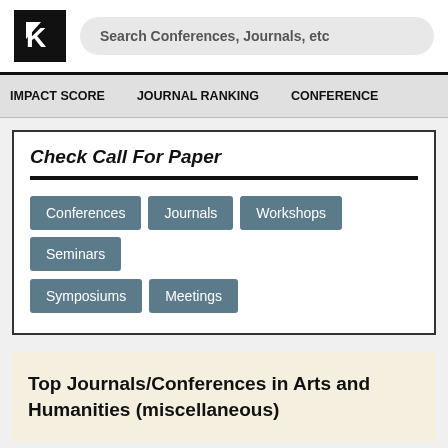[Figure (logo): Research ranking website logo with K letter in bold white on black background]
Search Conferences, Journals, etc
IMPACT SCORE   JOURNAL RANKING   CONFERENCE
Check Call For Paper
Conferences
Journals
Workshops
Seminars
Symposiums
Meetings
Top Journals/Conferences in Arts and Humanities (miscellaneous)